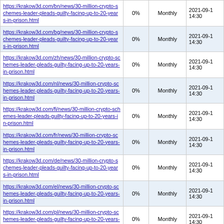| URL | Priority | Change Frequency | Last Modified |
| --- | --- | --- | --- |
| https://krakow3d.com/bn/news/30-million-crypto-schemes-leader-pleads-guilty-facing-up-to-20-years-in-prison.html | 0% | Monthly | 2021-09-1 14:30 |
| https://krakow3d.com/bg/news/30-million-crypto-schemes-leader-pleads-guilty-facing-up-to-20-years-in-prison.html | 0% | Monthly | 2021-09-1 14:30 |
| https://krakow3d.com/zh/news/30-million-crypto-schemes-leader-pleads-guilty-facing-up-to-20-years-in-prison.html | 0% | Monthly | 2021-09-1 14:30 |
| https://krakow3d.com/nl/news/30-million-crypto-schemes-leader-pleads-guilty-facing-up-to-20-years-in-prison.html | 0% | Monthly | 2021-09-1 14:30 |
| https://krakow3d.com/fi/news/30-million-crypto-schemes-leader-pleads-guilty-facing-up-to-20-years-in-prison.html | 0% | Monthly | 2021-09-1 14:30 |
| https://krakow3d.com/fr/news/30-million-crypto-schemes-leader-pleads-guilty-facing-up-to-20-years-in-prison.html | 0% | Monthly | 2021-09-1 14:30 |
| https://krakow3d.com/de/news/30-million-crypto-schemes-leader-pleads-guilty-facing-up-to-20-years-in-prison.html | 0% | Monthly | 2021-09-1 14:30 |
| https://krakow3d.com/el/news/30-million-crypto-schemes-leader-pleads-guilty-facing-up-to-20-years-in-prison.html | 0% | Monthly | 2021-09-1 14:30 |
| https://krakow3d.com/pl/news/30-million-crypto-schemes-leader-pleads-guilty-facing-up-to-20-years-in-prison.html | 0% | Monthly | 2021-09-1 14:30 |
| https://krakow3d.com/sk/news/30-million-crypto-schemes-leader-pleads-guilty-facing-up-to-20-years-in-prison.html | 0% | Monthly | 2021-09-1 14:30 |
| https://krakow3d.com/es/news/30-million-crypto-schemes-leader-pleads-guilty-facing-up-to-20-years-in-prison.html | 0% | Monthly | 2021-09-1 14:30 |
| https://krakow3d.com/sv/news/30-million-crypto-schemes-leader-pleads-guilty-facing-up-to-20-years-in-prison.html | 0% | Monthly | 2021-09-1 14:30 |